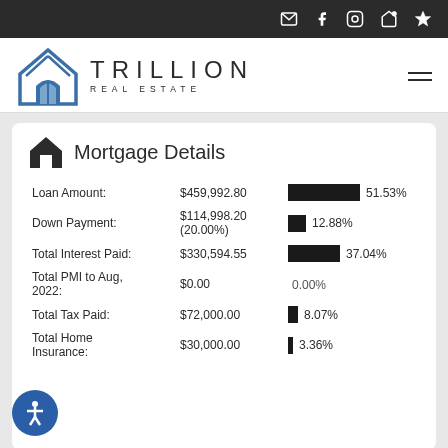Trillion Real Estate — navigation bar with social/contact icons
[Figure (logo): Trillion Real Estate logo: geometric house icon in blue and dark, with text TRILLION REAL ESTATE]
Mortgage Details
|  | Amount | Bar | Percentage |
| --- | --- | --- | --- |
| Loan Amount: | $459,992.80 | ■■■■■■■ | 51.53% |
| Down Payment: | $114,998.20 (20.00%) | ■ | 12.88% |
| Total Interest Paid: | $330,594.55 | ■■■■■ | 37.04% |
| Total PMI to Aug, 2022: | $0.00 |  | 0.00% |
| Total Tax Paid: | $72,000.00 | ■ | 8.07% |
| Total Home Insurance: | $30,000.00 | ■ | 3.36% |